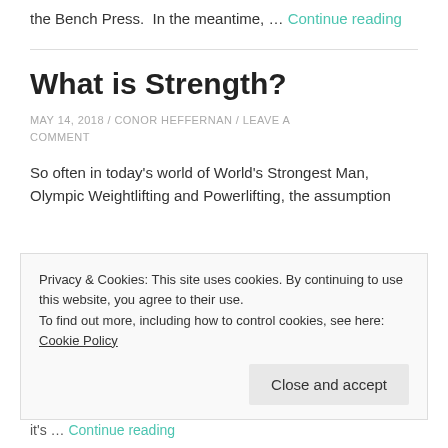the Bench Press. In the meantime, … Continue reading
What is Strength?
MAY 14, 2018 / CONOR HEFFERNAN / LEAVE A COMMENT
So often in today's world of World's Strongest Man, Olympic Weightlifting and Powerlifting, the assumption
Privacy & Cookies: This site uses cookies. By continuing to use this website, you agree to their use.
To find out more, including how to control cookies, see here: Cookie Policy
Close and accept
it's … Continue reading